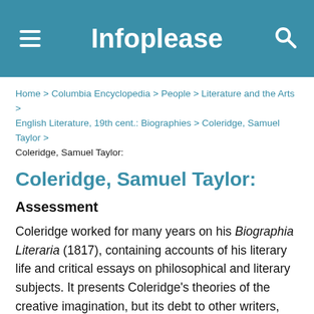Infoplease
Home > Columbia Encyclopedia > People > Literature and the Arts > English Literature, 19th cent.: Biographies > Coleridge, Samuel Taylor > Coleridge, Samuel Taylor:
Coleridge, Samuel Taylor:
Assessment
Coleridge worked for many years on his Biographia Literaria (1817), containing accounts of his literary life and critical essays on philosophical and literary subjects. It presents Coleridge's theories of the creative imagination, but its debt to other writers, notably the German idealist philosophers, is often so heavy that the line between legitimate borrowing and plagiarism becomes blurred. This borrowing tendency, evident also in some of his poetry, together with Coleridge's notorious inability to finish